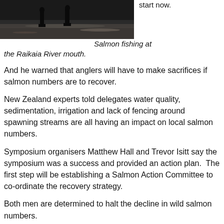[Figure (photo): Black and white photo of two people salmon fishing at the Raikaia River mouth, standing near water's edge]
Salmon fishing at the Raikaia River mouth.
And he warned that anglers will have to make sacrifices if salmon numbers are to recover.
New Zealand experts told delegates water quality, sedimentation, irrigation and lack of fencing around spawning streams are all having an impact on local salmon numbers.
Symposium organisers Matthew Hall and Trevor Isitt say the symposium was a success and provided an action plan.  The first step will be establishing a Salmon Action Committee to co-ordinate the recovery strategy.
Both men are determined to halt the decline in wild salmon numbers.
“I am a fourth generation salmon angler and I do not want to lose this magnificent fish.  As far as the battle to save